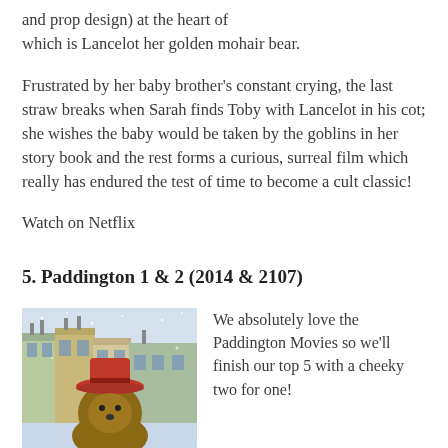and prop design) at the heart of which is Lancelot her golden mohair bear.
Frustrated by her baby brother's constant crying, the last straw breaks when Sarah finds Toby with Lancelot in his cot; she wishes the baby would be taken by the goblins in her story book and the rest forms a curious, surreal film which really has endured the test of time to become a cult classic!
Watch on Netflix
5. Paddington 1 & 2 (2014 & 2107)
[Figure (photo): Movie poster or still from Paddington film showing a bear character with a red hat in front of colorful buildings]
We absolutely love the Paddington Movies so we'll finish our top 5 with a cheeky two for one!
Perfect family films, which are